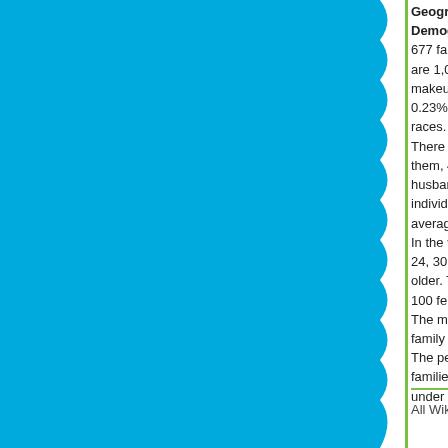Geography According to the United States Census, 2.6 km² (1.0 mi²). 2.6 km² (1.0 mi²) of it is land and...
Demographics As of the census of 2000, there are 677 families residing in the village. The population are 1,061 housing units at an average density of 4... makeup of the village is 96.72% White, 0.04% Afr... 0.23% Asian, 0.00% Pacific Islander, 0.31% from ... races. 1.87% of the population are Hispanic or La... There are 998 households out of which 35.1% ha... them, 48.5% are married couples living together, 1... husband present, and 32.1% are non-families. 26... individuals and 10.1% have someone living alone... average household size is 2.57 and the average f... In the village the population is spread out with 28.... 24, 30.5% from 25 to 44, 20.7% from 45 to 64, an... older. The median age is 33 years. For every 100... 100 females age 18 and over, there are 92.0 male... The median income for a household in the village... family is $50,000. Males have a median income o... The per capita income for the village is $20,394. 1... families are below the poverty line. Out of the tota... under the age of 18 and 13.1% are 65 or older.
All Wikipedia text is available under the terms of th...